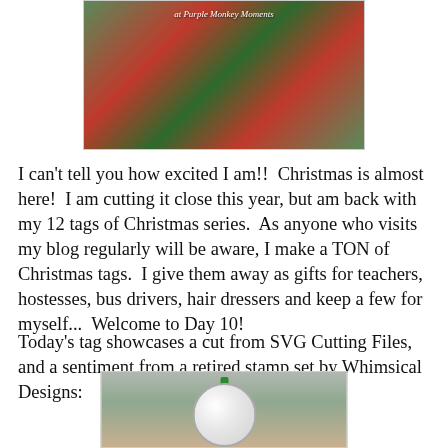[Figure (photo): Christmas ornament with red and green colors, photo at top of page, with text 'at Purple Monkey Moments' overlaid]
I can't tell you how excited I am!!  Christmas is almost here!  I am cutting it close this year, but am back with my 12 tags of Christmas series.  As anyone who visits my blog regularly will be aware, I make a TON of Christmas tags.  I give them away as gifts for teachers, hostesses, bus drivers, hair dressers and keep a few for myself...  Welcome to Day 10!
Today's tag showcases a cut from SVG Cutting Files, and a sentiment from a retired stamp set by Whimsical Designs:
[Figure (photo): Christmas tag ornament with green ribbon, partially visible at bottom of page]